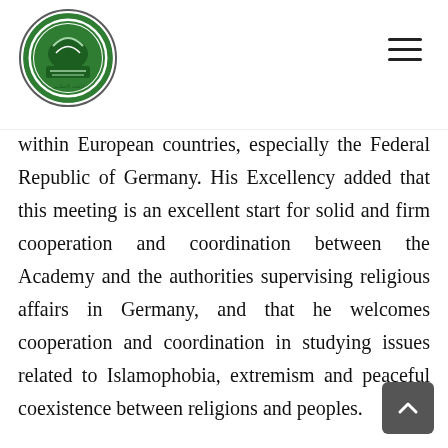[Islamic Fiqh Academy logo and navigation]
within European countries, especially the Federal Republic of Germany. His Excellency added that this meeting is an excellent start for solid and firm cooperation and coordination between the Academy and the authorities supervising religious affairs in Germany, and that he welcomes cooperation and coordination in studying issues related to Islamophobia, extremism and peaceful coexistence between religions and peoples.

In the same context, His Excellency affirmed the Academy's readiness to enhance awareness among Muslim communities of the importance of adhering to the requirements of citizenship in their countries...